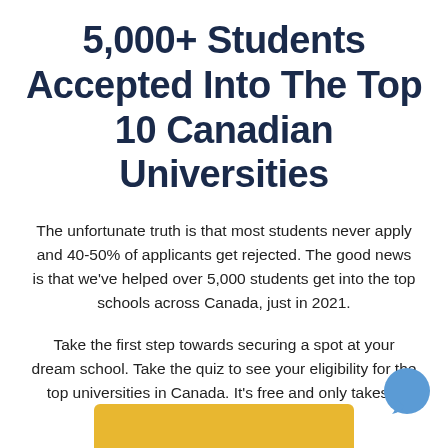5,000+ Students Accepted Into The Top 10 Canadian Universities
The unfortunate truth is that most students never apply and 40-50% of applicants get rejected. The good news is that we've helped over 5,000 students get into the top schools across Canada, just in 2021.
Take the first step towards securing a spot at your dream school. Take the quiz to see your eligibility for the top universities in Canada. It's free and only takes 3 minutes.